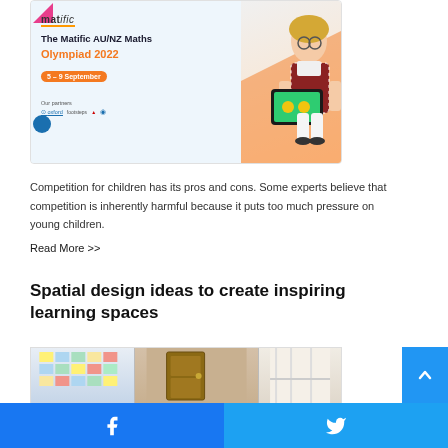[Figure (illustration): Matific AU/NZ Maths Olympiad 2022 advertisement banner showing a girl with glasses holding a tablet, with partner logos (Oxford, footsteps, and others). Badge says '5 - 9 September'.]
Competition for children has its pros and cons. Some experts believe that competition is inherently harmful because it puts too much pressure on young children.
Read More >>
Spatial design ideas to create inspiring learning spaces
[Figure (photo): Partial photo of a classroom or learning space with colorful displays on walls.]
Facebook share button | Twitter share button